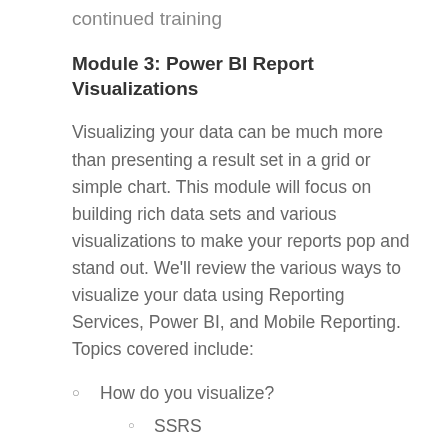continued training
Module 3: Power BI Report Visualizations
Visualizing your data can be much more than presenting a result set in a grid or simple chart. This module will focus on building rich data sets and various visualizations to make your reports pop and stand out. We’ll review the various ways to visualize your data using Reporting Services, Power BI, and Mobile Reporting. Topics covered include:
How do you visualize?
SSRS
Mobile Reporting
Power BI